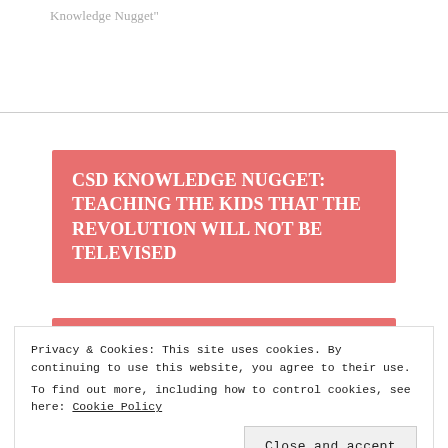Knowledge Nugget"
CSD KNOWLEDGE NUGGET: TEACHING THE KIDS THAT THE REVOLUTION WILL NOT BE TELEVISED
CRUISING WITH CSD: THE RETURN OF
Privacy & Cookies: This site uses cookies. By continuing to use this website, you agree to their use.
To find out more, including how to control cookies, see here: Cookie Policy
Close and accept